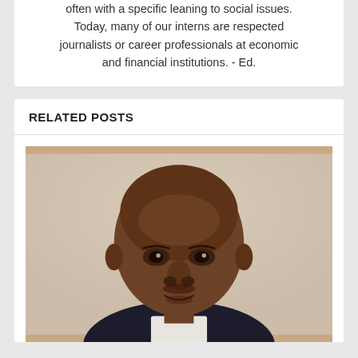often with a specific leaning to social issues. Today, many of our interns are respected journalists or career professionals at economic and financial institutions. - Ed.
RELATED POSTS
[Figure (photo): Headshot of a middle-aged Black man with a shaved head, wearing a dark suit, looking directly at the camera against a light background.]